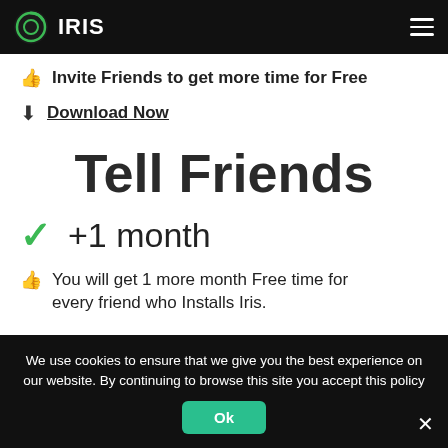IRIS
Invite Friends to get more time for Free
Download Now
Tell Friends
+1 month
You will get 1 more month Free time for every friend who Installs Iris.
We use cookies to ensure that we give you the best experience on our website. By continuing to browse this site you accept this policy